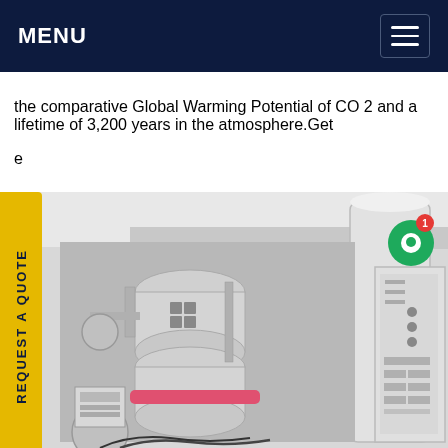MENU
the comparative Global Warming Potential of CO 2 and a lifetime of 3,200 years in the atmosphere.Get
e
REQUEST A QUOTE
[Figure (photo): Industrial refrigeration or HVAC equipment — large white cylindrical vessels, compressors, pipes, valves, and an electrical control panel in a white-walled plant room.]